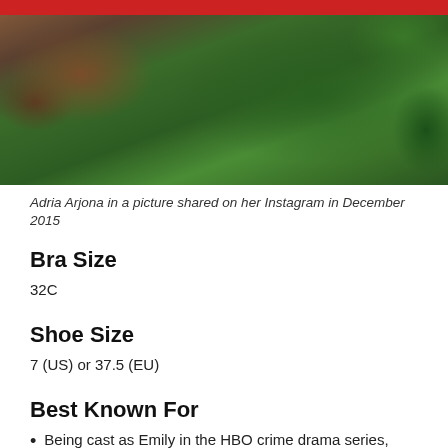[Figure (photo): Photo of Adria Arjona with green and brown tones in the background, partial view showing boxing or fitness gloves in green color]
Adria Arjona in a picture shared on her Instagram in December 2015
Bra Size
32C
Shoe Size
7 (US) or 37.5 (EU)
Best Known For
Being cast as Emily in the HBO crime drama series, True Detective in 2015.